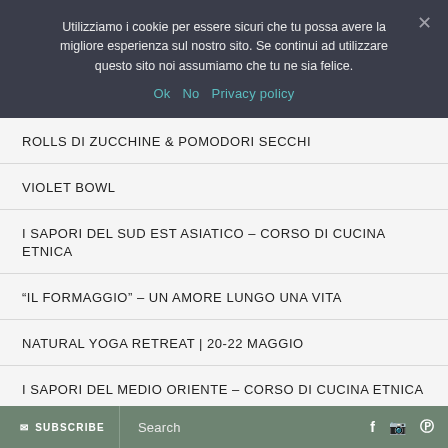Utilizziamo i cookie per essere sicuri che tu possa avere la migliore esperienza sul nostro sito. Se continui ad utilizzare questo sito noi assumiamo che tu ne sia felice.
Ok   No   Privacy policy
ROLLS DI ZUCCHINE & POMODORI SECCHI
VIOLET BOWL
I SAPORI DEL SUD EST ASIATICO – CORSO DI CUCINA ETNICA
“IL FORMAGGIO” – UN AMORE LUNGO UNA VITA
NATURAL YOGA RETREAT | 20-22 Maggio
I SAPORI DEL MEDIO ORIENTE – CORSO DI CUCINA ETNICA
FOIADE
SUBSCRIBE   Search   f   ó   ®